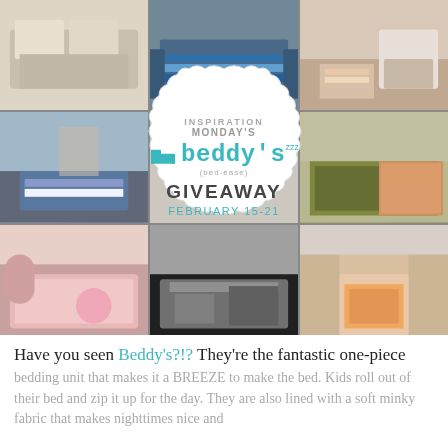[Figure (photo): Collage of 9 bedroom photos arranged in a 3x3 grid with a decorative badge overlay reading 'Inspiration Monday's Beddy's (bed-ease) Giveaway February 15-21']
Have you seen Beddy's?!? They're the fantastic one-piece bedding unit that makes it a BREEZE to make the bed. Kids roll out of their bed and zip it up for the day. They are also lined with a soft minky fabric that makes nighttimes nice and